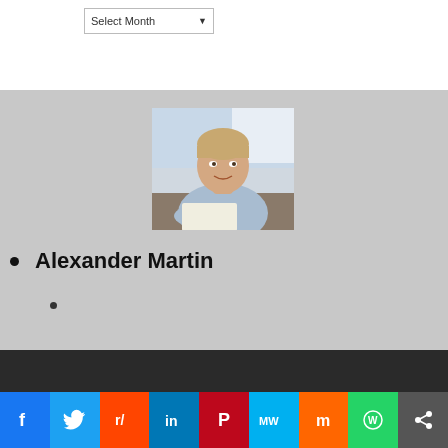[Figure (photo): Dropdown selector widget showing 'Select Month']
[Figure (photo): Profile photo of Alexander Martin, a man in a blue shirt working at a desk]
Alexander Martin
Copyright © 2010-2022 Seekinformation.org | All Rights Reserved.